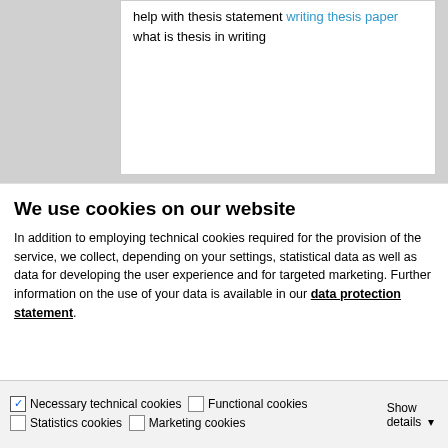help with thesis statement writing thesis paper
what is thesis in writing
[Figure (screenshot): Partial screenshot of a webpage showing a user avatar/profile card placeholder with gray background and white circle]
We use cookies on our website
In addition to employing technical cookies required for the provision of the service, we collect, depending on your settings, statistical data as well as data for developing the user experience and for targeted marketing. Further information on the use of your data is available in our data protection statement.
Allow all cookies
Allow selection
Use necessary cookies only
Necessary technical cookies   Functional cookies   Statistics cookies   Marketing cookies   Show details